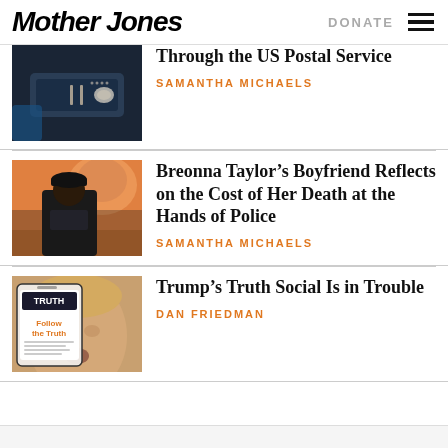Mother Jones | DONATE
[Figure (photo): A hand holding a COVID rapid antigen test with two lines visible against a dark background]
Through the US Postal Service
SAMANTHA MICHAELS
[Figure (photo): A man in a dark hoodie and cap standing in front of a large mural painting of a woman]
Breonna Taylor’s Boyfriend Reflects on the Cost of Her Death at the Hands of Police
SAMANTHA MICHAELS
[Figure (photo): A smartphone showing the Truth Social app with Follow the Truth text, in front of a photo of Donald Trump]
Trump’s Truth Social Is in Trouble
DAN FRIEDMAN